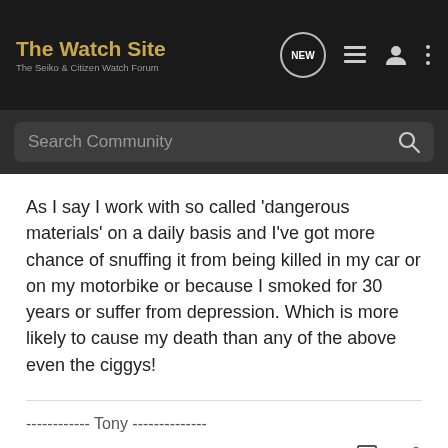The Watch Site — The Seiko & Citizen Watch Forum
As I say I work with so called 'dangerous materials' on a daily basis and I've got more chance of snuffing it from being killed in my car or on my motorbike or because I smoked for 30 years or suffer from depression. Which is more likely to cause my death than any of the above even the ciggys!
------------ Tony --------------
ClockBloke · Registered 🇬🇧